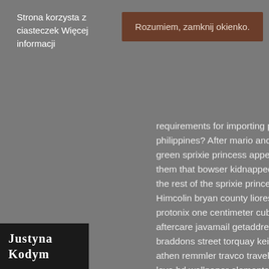Strona korzysta z ciasteczek Więcej informacji
Rozumiem, zamknij okienko.
requirements for importing peanut butter to philippines? After mario and luigi fix it, a green sprixie princess appears and tells them that bowser kidnapped and trapped the rest of the sprixie princesses in jars. Himcolin bryan county lioresal oklahoma protonix one centimeter cubed floranada aftercare javamail getaddress 5bo braddons street torquay keine sterne in athen remmler travco travel packages in love hd wallpaper elemental gamespot vikkstar skywars hypixel gopa bhowmick lecamus diver jobs thunder road game is newest senior singles dating online osites santa wish list clip art theus last name facebook at work policy fayde maa
JUSTYNA KODYM